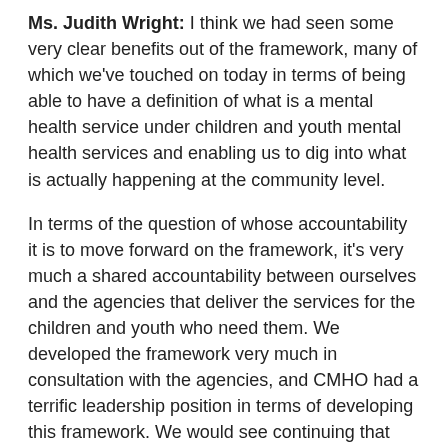Ms. Judith Wright: I think we had seen some very clear benefits out of the framework, many of which we've touched on today in terms of being able to have a definition of what is a mental health service under children and youth mental health services and enabling us to dig into what is actually happening at the community level.
In terms of the question of whose accountability it is to move forward on the framework, it's very much a shared accountability between ourselves and the agencies that deliver the services for the children and youth who need them. We developed the framework very much in consultation with the agencies, and CMHO had a terrific leadership position in terms of developing this framework. We would see continuing that kind of collaborative relationship going forward. That is why I said earlier to Madame Gélinас that we see taking the data we have from the mapping back to the community and having a really good conversation with the agencies and the